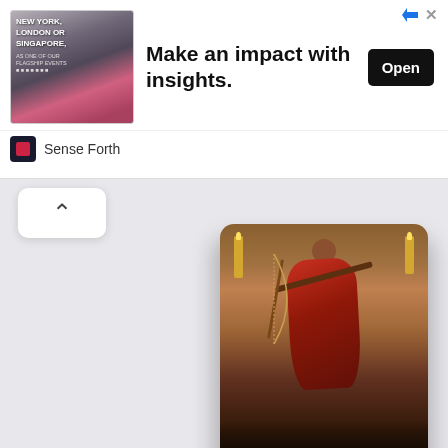[Figure (screenshot): Advertisement banner: image of a man at presentation with text 'NEW YORK, LONDON OR SINGAPORE,' on left; headline 'Make an impact with insights.' in center; black 'Open' button on right; 'Sense Forth' brand name at bottom]
[Figure (photo): Movie category card showing a woman in a red sari drawing a bow, dark warm background with candles. Label reads 'Movies about the army']
[Figure (photo): Movie category card with gray placeholder background. Label reads 'Good cartoons']